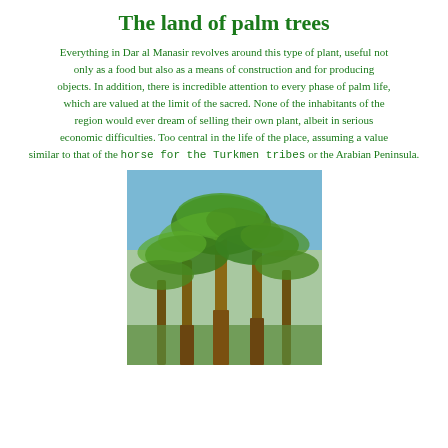The land of palm trees
Everything in Dar al Manasir revolves around this type of plant, useful not only as a food but also as a means of construction and for producing objects. In addition, there is incredible attention to every phase of palm life, which are valued at the limit of the sacred. None of the inhabitants of the region would ever dream of selling their own plant, albeit in serious economic difficulties. Too central in the life of the place, assuming a value similar to that of the horse for the Turkmen tribes or the Arabian Peninsula.
[Figure (photo): Photo of palm trees viewed from below against a blue sky, showing multiple tall palm trees with green and golden fronds.]